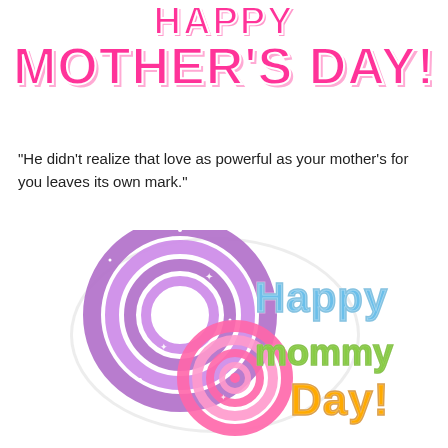HAPPY MOTHER'S DAY!
"He didn't realize that love as powerful as your mother's for you leaves its own mark."
[Figure (illustration): Colorful glittery graphic with concentric spiral circles in purple and pink, with the text 'Happy Mommy Day!' in blue, green, and orange cartoon letters with silver glitter outlines]